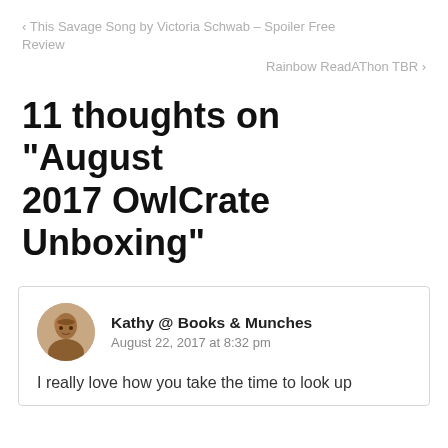‹ This Savage Song by Victoria Schwab – Spoiler Free Review
Rainbow ReadAThon TBR ›
11 thoughts on “August 2017 OwlCrate Unboxing”
Kathy @ Books & Munches
August 22, 2017 at 8:32 pm

I really love how you take the time to look up